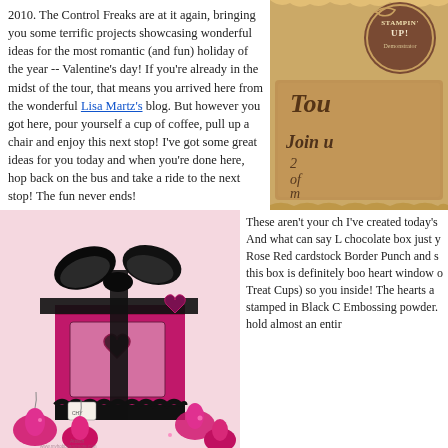2010. The Control Freaks are at it again, bringing you some terrific projects showcasing wonderful ideas for the most romantic (and fun) holiday of the year -- Valentine's day! If you're already in the midst of the tour, that means you arrived here from the wonderful Lisa Martz's blog. But however you got here, pour yourself a cup of coffee, pull up a chair and enjoy this next stop! I've got some great ideas for you today and when you're done here, hop back on the bus and take a ride to the next stop! The fun never ends!
[Figure (illustration): Decorative blog tour badge with Stampin' Up logo and text 'Tour, Join us, of m' on aged paper background]
[Figure (photo): Pink and black Valentine's Day gift box with black ribbon bow, heart window cutout, surrounded by pink foil Hershey's Kisses chocolates on a light pink background]
These aren't your ch I've created today's And what can say L chocolate box just y Rose Red cardstock Border Punch and s this box is definitely boo heart window o Treat Cups) so you inside! The hearts a stamped in Black C Embossing powder. hold almost an entir